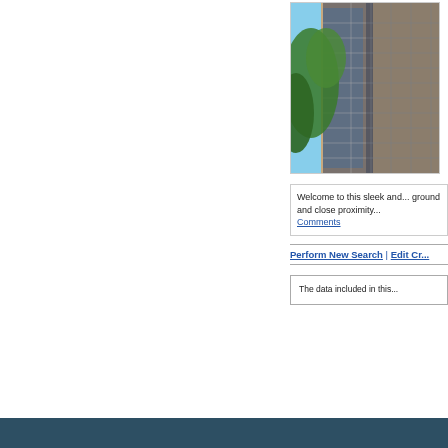[Figure (photo): Upward-angle photo of a tall modern office/residential building with glass windows and a green tree visible in the foreground against a blue sky]
Welcome to this sleek and... ground and close proximity...
Comments
Perform New Search | Edit Cr...
The data included in this...